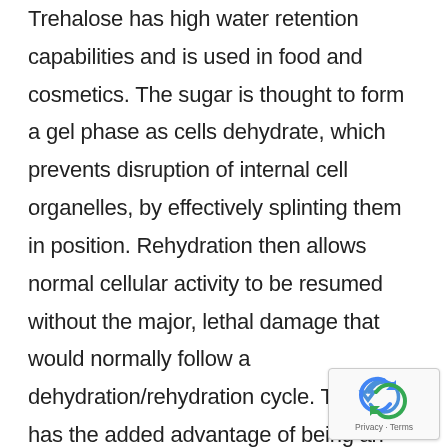Trehalose has high water retention capabilities and is used in food and cosmetics. The sugar is thought to form a gel phase as cells dehydrate, which prevents disruption of internal cell organelles, by effectively splinting them in position. Rehydration then allows normal cellular activity to be resumed without the major, lethal damage that would normally follow a dehydration/rehydration cycle. Trehalose has the added advantage of being an antioxidant. Extracting trehalose used to be a difficult and costly process. Trehalose is currently being used for a broad spectrum of applications.